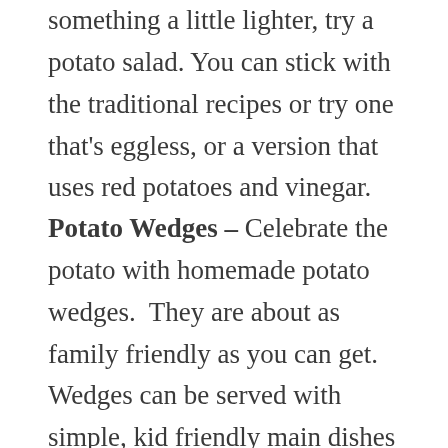something a little lighter, try a potato salad. You can stick with the traditional recipes or try one that's eggless, or a version that uses red potatoes and vinegar.
Potato Wedges – Celebrate the potato with homemade potato wedges.  They are about as family friendly as you can get. Wedges can be served with simple, kid friendly main dishes or fancier adult fare. While cutting the potatoes can seem like a chore, in the end the homemade taste will be worth it! Try this recipe from Our Best Bites for oven fries and